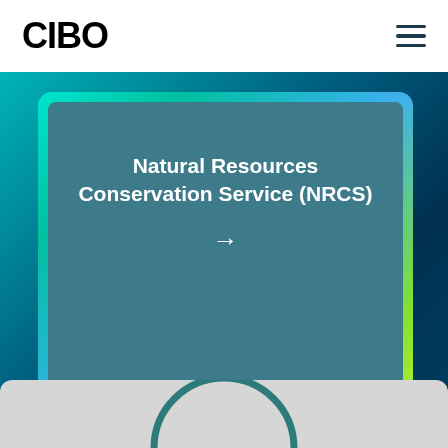CIBO
Natural Resources Conservation Service (NRCS)
[Figure (other): Partial bottom card with teal arc visible at bottom of page]